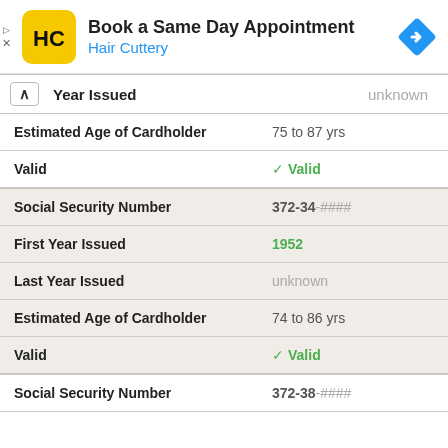[Figure (screenshot): Hair Cuttery advertisement banner: logo (HC on yellow background), text 'Book a Same Day Appointment' and 'Hair Cuttery', blue navigation arrow icon on right, ad controls (play/X) on far left]
| Year Issued | unknown |
| Estimated Age of Cardholder | 75 to 87 yrs |
| Valid | ✓ Valid |
| Social Security Number | 372-34-#### |
| First Year Issued | 1952 |
| Last Year Issued | unknown |
| Estimated Age of Cardholder | 74 to 86 yrs |
| Valid | ✓ Valid |
| Social Security Number | 372-38-#### |